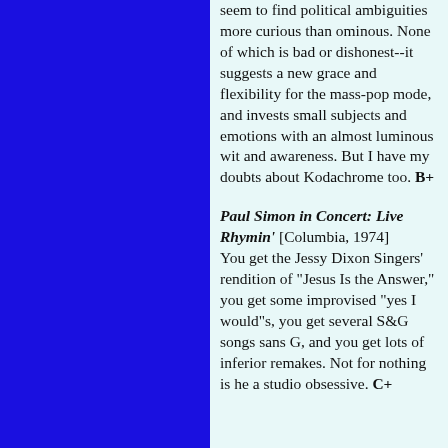seem to find political ambiguities more curious than ominous. None of which is bad or dishonest--it suggests a new grace and flexibility for the mass-pop mode, and invests small subjects and emotions with an almost luminous wit and awareness. But I have my doubts about Kodachrome too. B+
Paul Simon in Concert: Live Rhymin' [Columbia, 1974] You get the Jessy Dixon Singers' rendition of "Jesus Is the Answer," you get some improvised "yes I would"s, you get several S&G songs sans G, and you get lots of inferior remakes. Not for nothing is he a studio obsessive. C+